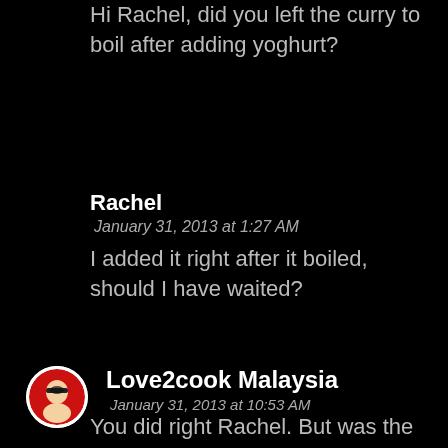Hi Rachel, did you left the curry to boil after adding yoghurt?
Rachel
January 31, 2013 at 1:27 AM
I added it right after it boiled, should I have waited?
[Figure (photo): Circular avatar photo of Love2cook Malaysia, showing a person with sunglasses on a red heart background]
Love2cook Malaysia
January 31, 2013 at 10:53 AM
You did right Rachel. But was the curry still